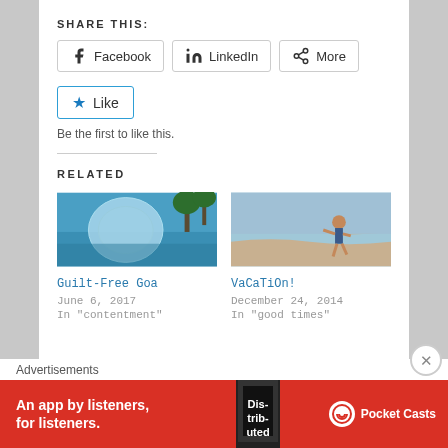SHARE THIS:
Facebook  LinkedIn  More
Like
Be the first to like this.
RELATED
[Figure (photo): Water ball/zorb ball floating in a tropical pool with palm trees]
Guilt-Free Goa
June 6, 2017
In "contentment"
[Figure (photo): Young child running along a beach shoreline]
VaCaTiOn!
December 24, 2014
In "good times"
Advertisements
[Figure (infographic): Pocket Casts advertisement banner: An app by listeners, for listeners.]